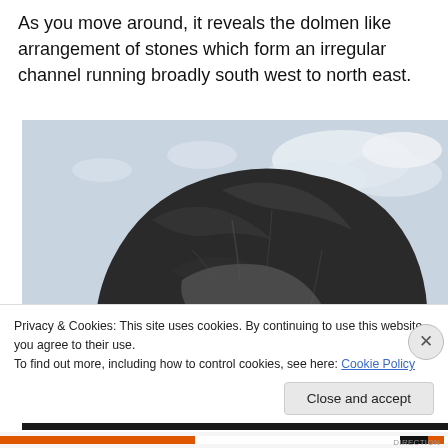As you move around, it reveals the dolmen like arrangement of stones which form an irregular channel running broadly south west to north east.
[Figure (photo): Close-up photograph of a large dark stone formation resembling a dolmen, photographed from below against a cloudy sky. The dark rock appears massive and rough-textured, with a smaller stone beneath it.]
Privacy & Cookies: This site uses cookies. By continuing to use this website, you agree to their use.
To find out more, including how to control cookies, see here: Cookie Policy
Close and accept